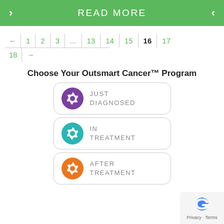READ MORE
← | 1 | 2 | 3 | ... | 13 | 14 | 15 | 16 | 17 | 18 | →
Choose Your Outsmart Cancer™ Program
[Figure (logo): Just Diagnosed program button with purple spiral logo]
[Figure (logo): In Treatment program button with teal spiral logo]
[Figure (logo): After Treatment program button with orange spiral logo]